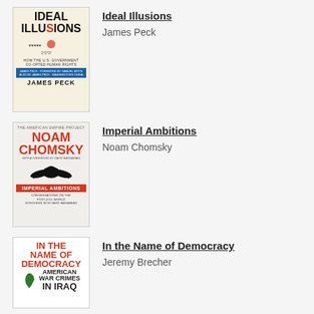[Figure (illustration): Book cover of 'Ideal Illusions' by James Peck showing title in bold black letters, decorative figures, and subtitle 'How the U.S. Government Co-Opted Human Rights' on a cream background]
Ideal Illusions
James Peck
[Figure (illustration): Book cover of 'Imperial Ambitions' by Noam Chomsky with large red author name, eagle illustration, red title box, subtitle 'Conversations on the Post-9/11 World', on a light background]
Imperial Ambitions
Noam Chomsky
[Figure (illustration): Book cover of 'In the Name of Democracy: American War Crimes in Iraq' by Jeremy Brecher showing red and black title text with a green Iraq-shaped graphic on white background]
In the Name of Democracy
Jeremy Brecher